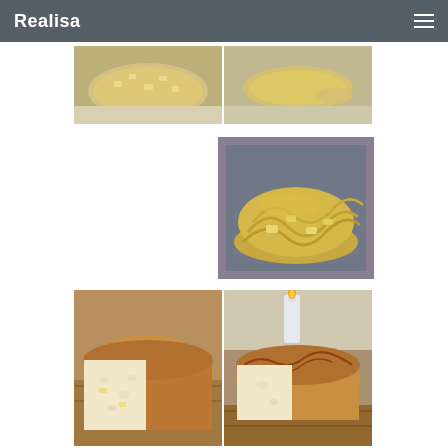Realisa
[Figure (photo): Two side-by-side photos of raw bread dough with filling on a baking tray]
[Figure (photo): Photo of braided/woven bread dough with apple filling before baking]
[Figure (photo): Two side-by-side photos of baked bread loaf, sliced to show interior texture, on a wooden board with a candle]